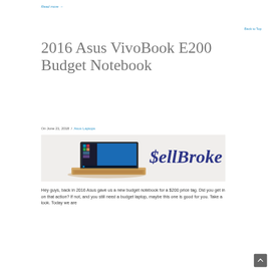Read more →
Back to Top
2016 Asus VivoBook E200 Budget Notebook
On June 21, 2018 / Asus Laptops
[Figure (photo): Asus VivoBook E200 laptop with Windows 10 on screen, gold color, with SellBroke logo overlay]
Hey guys, back in 2016 Asus gave us a new budget notebook for a $200 price tag. Did you get in on that action? If not, and you still need a budget laptop, maybe this one is good for you. Take a look. Today we are